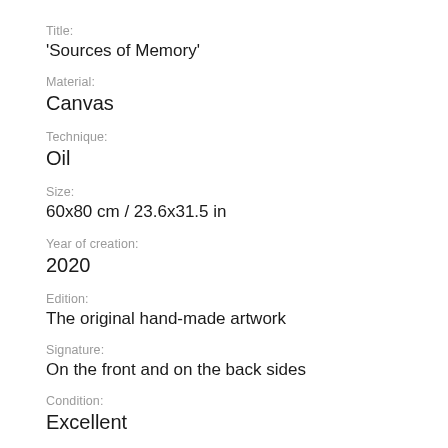Title:
'Sources of Memory'
Material:
Canvas
Technique:
Oil
Size:
60x80 cm / 23.6x31.5 in
Year of creation:
2020
Edition:
The original hand-made artwork
Signature:
On the front and on the back sides
Condition:
Excellent